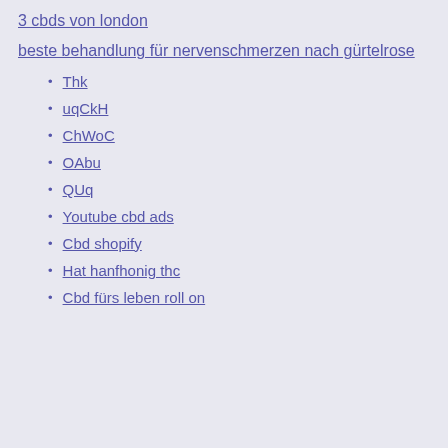3 cbds von london
beste behandlung für nervenschmerzen nach gürtelrose
Thk
uqCkH
ChWoC
OAbu
QUq
Youtube cbd ads
Cbd shopify
Hat hanfhonig thc
Cbd fürs leben roll on